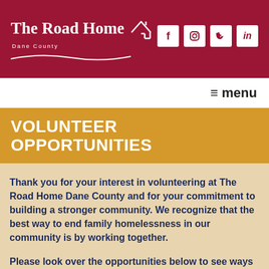[Figure (logo): The Road Home Dane County logo with house icon and social media icons (Facebook, Instagram, Twitter, LinkedIn) on dark red background]
≡ menu
VOLUNTEER OPPORTUNITIES
Thank you for your interest in volunteering at The Road Home Dane County and for your commitment to building a stronger community. We recognize that the best way to end family homelessness in our community is by working together.
Please look over the opportunities below to see ways you might make a difference. Next, review our Volunteer Handbook to better understand our